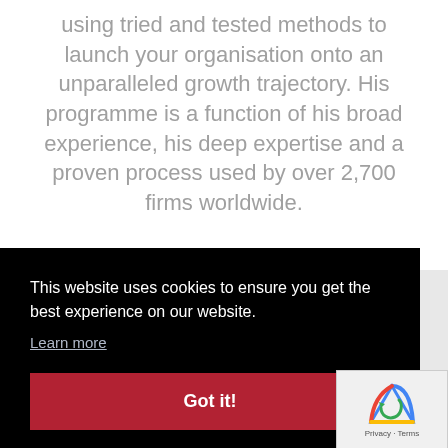using tried and tested methods to launch your organisation onto an unparalleled growth trajectory. His programme is a function of his broad experience, his deep expertise and a proven process used by over 2,700 firms worldwide.
This website uses cookies to ensure you get the best experience on our website.
Learn more
Got it!
WHY FINDING